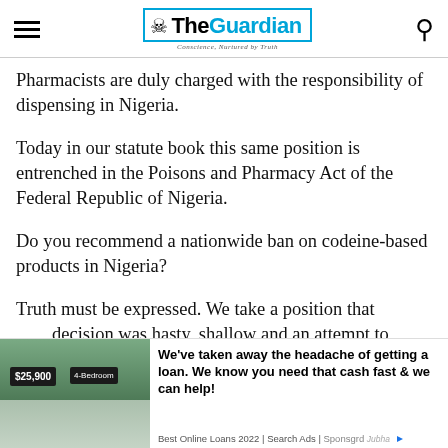The Guardian — Conscience, Nurtured by Truth
Pharmacists are duly charged with the responsibility of dispensing in Nigeria.
Today in our statute book this same position is entrenched in the Poisons and Pharmacy Act of the Federal Republic of Nigeria.
Do you recommend a nationwide ban on codeine-based products in Nigeria?
Truth must be expressed. We take a position that decision was hasty, shallow and an attempt to
[Figure (photo): Advertisement image showing a building with a $25,900 sign and 4-Bedroom label]
We've taken away the headache of getting a loan. We know you need that cash fast & we can help! Best Online Loans 2022 | Search Ads | Sponsored | Jubna